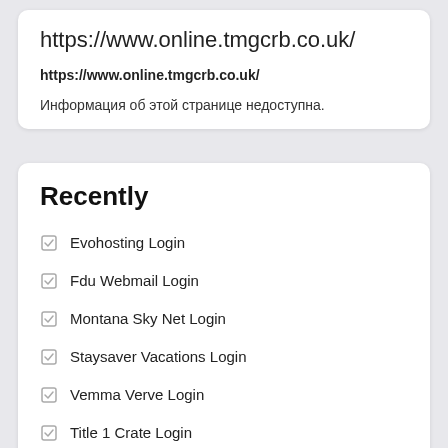https://www.online.tmgcrb.co.uk/
https://www.online.tmgcrb.co.uk/
Информация об этой странице недоступна.
Recently
Evohosting Login
Fdu Webmail Login
Montana Sky Net Login
Staysaver Vacations Login
Vemma Verve Login
Title 1 Crate Login